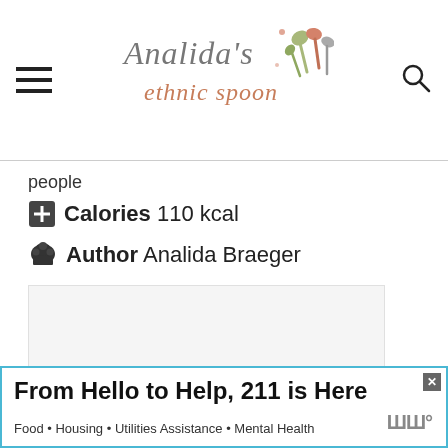Analida's ethnic spoon
people
Calories 110 kcal
Author Analida Braeger
[Figure (other): Empty image placeholder with three dots indicating loading]
From Hello to Help, 211 is Here — Food • Housing • Utilities Assistance • Mental Health